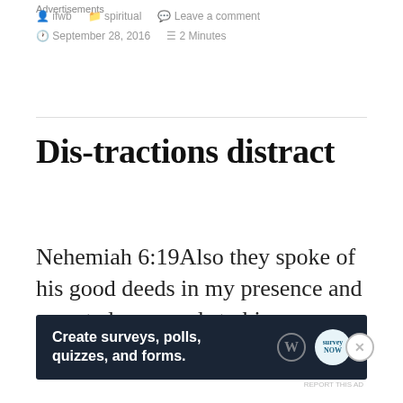One blogger likes this.
ifwb   spiritual   Leave a comment
September 28, 2016   2 Minutes
Dis-tractions distract
Nehemiah 6:19Also they spoke of his good deeds in my presence and reported my words to him. and To him also reported my words...
Advertisements
[Figure (screenshot): Advertisement banner: Create surveys, polls, quizzes, and forms. Dark navy background with WordPress logo and SurveyNow logo.]